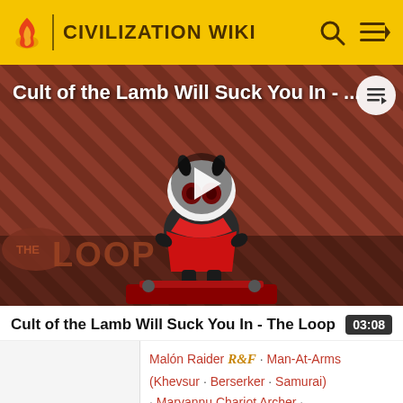CIVILIZATION WIKI
[Figure (screenshot): Video thumbnail for 'Cult of the Lamb Will Suck You In - The Loop' showing a cartoon lamb character on a red-striped background with THE LOOP logo, and a play button overlay]
Cult of the Lamb Will Suck You In - The Loop
03:08
Malón Raider R&F · Man-At-Arms (Khevsur · Berserker · Samurai) · Maryannu Chariot Archer · Mechanized Infantry · Modern AT ·